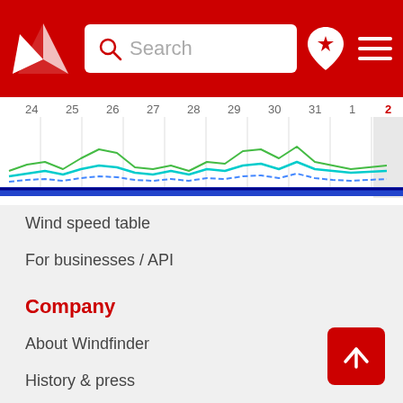[Figure (screenshot): Windfinder website header with red background, logo, search box, location pin icon, and hamburger menu]
[Figure (line-chart): Wind speed chart strip showing dates 24-2 with colored wavy lines (green, cyan, blue) representing wind data]
Wind speed table
For businesses / API
Company
About Windfinder
History & press
Advertise with us!
News / Blog
Connect with us
Twitter
Facebook